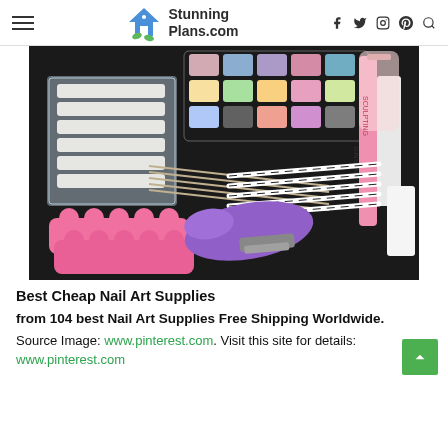StunningPlans.com — navigation header with menu icon, logo, social icons (facebook, twitter, instagram, pinterest) and search
[Figure (photo): A collection of nail art supplies laid out on a dark background including colorful glitter powder jars, fake nail tips, nail art brushes, toe separators in pink, a purple nail clipper tool, a pink nail file, and various other nail art accessories.]
Best Cheap Nail Art Supplies
from 104 best Nail Art Supplies Free Shipping Worldwide.
Source Image: www.pinterest.com. Visit this site for details:
www.pinterest.com